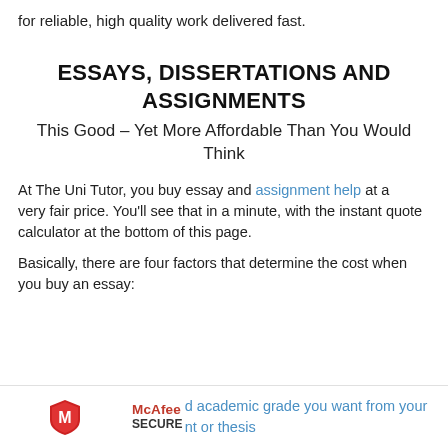for reliable, high quality work delivered fast.
ESSAYS, DISSERTATIONS AND ASSIGNMENTS
This Good – Yet More Affordable Than You Would Think
At The Uni Tutor, you buy essay and assignment help at a very fair price. You'll see that in a minute, with the instant quote calculator at the bottom of this page.
Basically, there are four factors that determine the cost when you buy an essay:
d academic grade you want from your nt or thesis